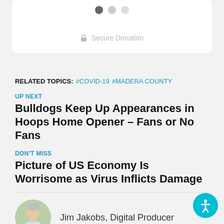[Figure (other): Donation card widget with three pagination dots (dark, medium, light) and a 'Secure Donation' label with lock icon]
RELATED TOPICS: #COVID-19 #MADERA COUNTY
UP NEXT
Bulldogs Keep Up Appearances in Hoops Home Opener – Fans or No Fans
DON'T MISS
Picture of US Economy Is Worrisome as Virus Inflicts Damage
Jim Jakobs, Digital Producer